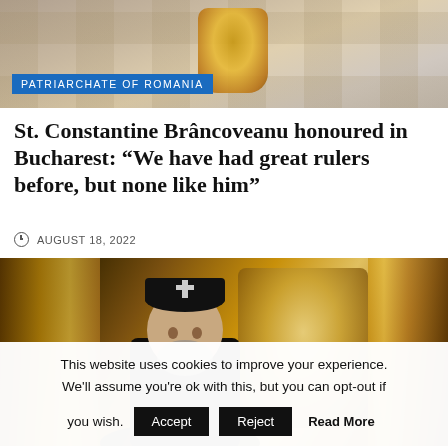[Figure (photo): Top portion of a photo showing ornate golden religious objects on a cobblestone surface. A blue label tag reads PATRIARCHATE OF ROMANIA.]
PATRIARCHATE OF ROMANIA
St. Constantine Brâncoveanu honoured in Bucharest: “We have had great rulers before, but none like him”
AUGUST 18, 2022
[Figure (photo): A bishop in black vestments and kalimavkion with a cross, standing before ornate golden iconostasis with a colorful icon of the Virgin Mary.]
This website uses cookies to improve your experience. We'll assume you're ok with this, but you can opt-out if you wish.